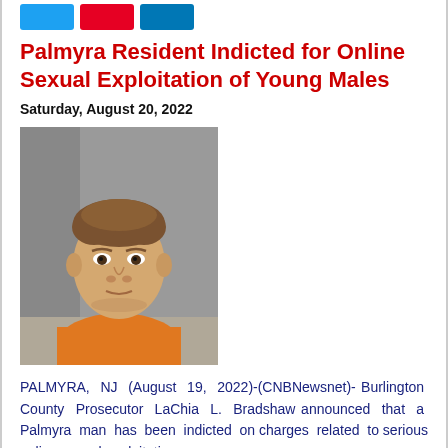[Figure (other): Social media share buttons: Twitter (blue), Pinterest (red), LinkedIn (blue)]
Palmyra Resident Indicted for Online Sexual Exploitation of Young Males
Saturday, August 20, 2022
[Figure (photo): Mugshot photo of a young white male with brown hair wearing an orange jail jumpsuit, against a gray background.]
PALMYRA, NJ (August 19, 2022)-(CNBNewsnet)- Burlington County Prosecutor LaChia L. Bradshaw announced that a Palmyra man has been indicted on charges related to serious online sexual exploitation of young males